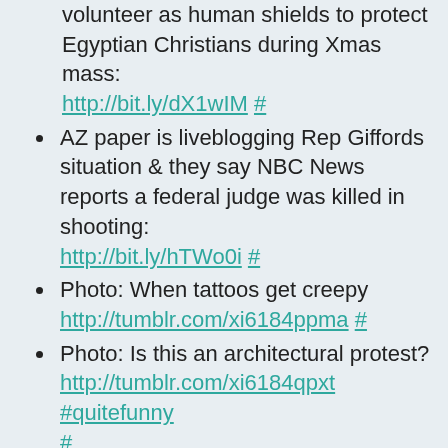volunteer as human shields to protect Egyptian Christians during Xmas mass: http://bit.ly/dX1wIM #
AZ paper is liveblogging Rep Giffords situation & they say NBC News reports a federal judge was killed in shooting: http://bit.ly/hTWo0i #
Photo: When tattoos get creepy http://tumblr.com/xi6184ppma #
Photo: Is this an architectural protest? http://tumblr.com/xi6184qpxt #quitefunny #
Letter from Voina's Oleg Vorotnikov to His Wife From a St. Petersburg Prison: http://tumblr.com/xi6184rvtv #
Hm...